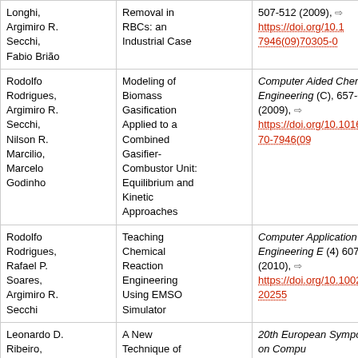| Authors | Title | Publication |
| --- | --- | --- |
| Longhi, Argimiro R. Secchi, Fabio Brião | Removal in RBCs: an Industrial Case | 507-512 (2009), https://doi.org/10.1016/S1570-7946(09)70305-0 |
| Rodolfo Rodrigues, Argimiro R. Secchi, Nilson R. Marcilio, Marcelo Godinho | Modeling of Biomass Gasification Applied to a Combined Gasifier-Combustor Unit: Equilibrium and Kinetic Approaches | Computer Aided Chemical Engineering (C), 657-662 (2009), https://doi.org/10.1016/S1570-7946(09)... |
| Rodolfo Rodrigues, Rafael P. Soares, Argimiro R. Secchi | Teaching Chemical Reaction Engineering Using EMSO Simulator | Computer Application in Engineering B (4) 607-618 (2010), https://doi.org/10.1002/cae.20255 |
| Leonardo D. Ribeiro, Argimiro R. Sechi, Evaristo C. Biscaia Jr | A New Technique of Model Order Reduction Based on Weighted Residuals in Discrete Domain | 20th European Symposium on Computer Process Engineering (ESCAPE20), Is Italy, 1639-1644 (2010), download |
| Márcio A. F. Martins, | New Objective |  |